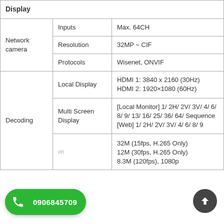|  |  |  |
| --- | --- | --- |
| Display |  |  |
| Network camera | Inputs | Max. 64CH |
| Network camera | Resolution | 32MP ~ CIF |
| Network camera | Protocols | Wisenet, ONVIF |
| Decoding | Local Display | HDMI 1: 3840 x 2160 (30Hz)
HDMI 2: 1920×1080 (60Hz) |
| Decoding | Multi Screen Display | [Local Monitor] 1/ 2H/ 2V/ 3V/ 4/ 6/ 8/ 9/ 13/ 16/ 25/ 36/ 64/ Sequence
[Web] 1/ 2H/ 2V/ 3V/ 4/ 6/ 8/ 9 |
| Decoding |  | 32M (15fps, H.265 Only)
12M (30fps, H.265 Only)
8.3M (120fps), 1080p |